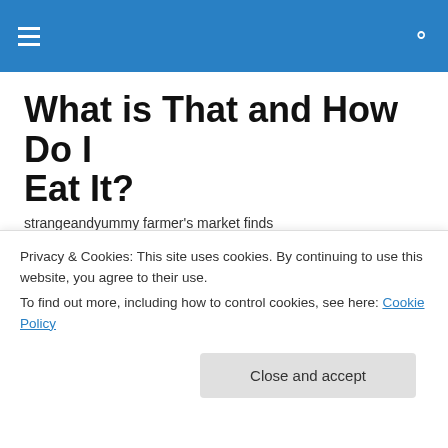Navigation bar with hamburger menu and search icon
What is That and How Do I Eat It?
strangeandyummy farmer's market finds
TAGGED WITH KALE
Kale Chips
Privacy & Cookies: This site uses cookies. By continuing to use this website, you agree to their use.
To find out more, including how to control cookies, see here: Cookie Policy
Close and accept